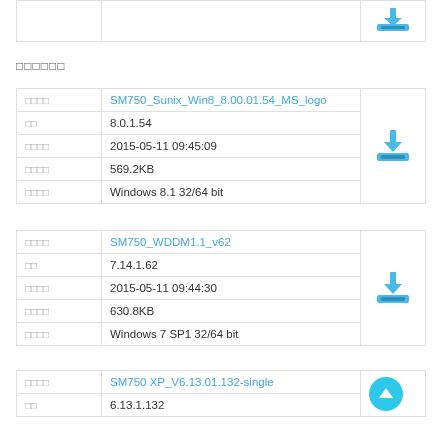|  |  |  |
| --- | --- | --- |
|  |  |  |
□□□□□□
| □□□□ | SM750_Sunix_Win8_8.00.01.54_MS_logo |  |
| --- | --- | --- |
| □□ | 8.0.1.54 |  |
| □□□□ | 2015-05-11 09:45:09 |  |
| □□□□ | 569.2KB |  |
| □□□□ | Windows 8.1 32/64 bit |  |
| □□□□ | SM750_WDDM1.1_v62 |  |
| --- | --- | --- |
| □□ | 7.14.1.62 |  |
| □□□□ | 2015-05-11 09:44:30 |  |
| □□□□ | 630.8KB |  |
| □□□□ | Windows 7 SP1 32/64 bit |  |
| □□□□ | SM750 XP_V6.13.01.132-single |  |
| --- | --- | --- |
| □□ | 6.13.1.132 |  |